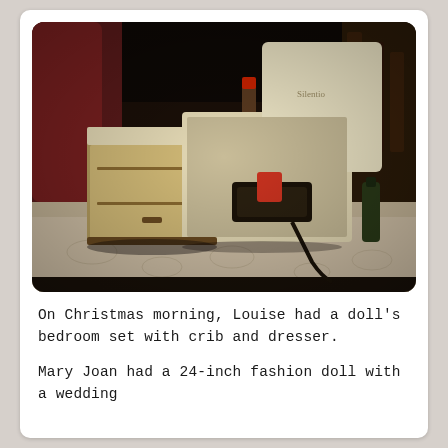[Figure (photo): A doll's bedroom set with a crib and dresser placed on a table in what appears to be a restaurant or diner setting. The furniture pieces are cream and brown colored, vintage style. There are bottles and other items visible in the background.]
On Christmas morning, Louise had a doll's bedroom set with crib and dresser.
Mary Joan had a 24-inch fashion doll with a wedding